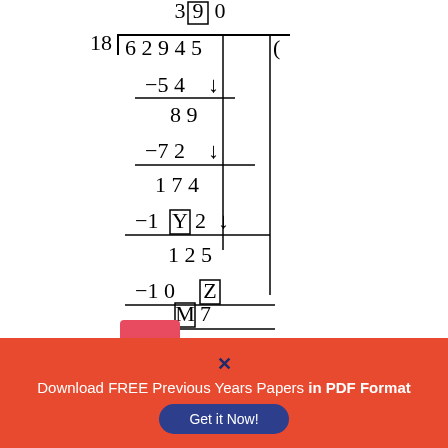[Figure (math-figure): Long division of 62945 by 18, showing step-by-step work with boxed unknowns X, Y, Z, M. Steps: 18)62945, quotient partial 3[X]90, -54 down, 89, -72 down, 174, -1[Y]2 down, 125, -10[Z], [M]7]
A  3
B  4
C  5
D  6
Download FREE Previous Years Papers in PDF Format  Get it Now!